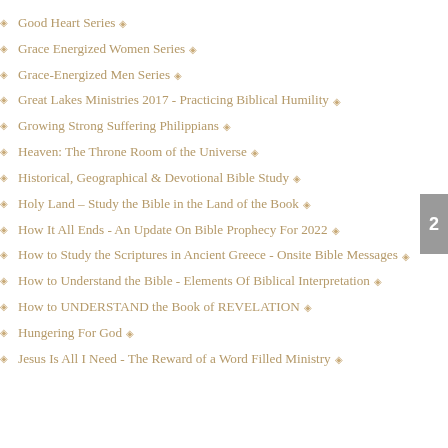Good Heart Series
Grace Energized Women Series
Grace-Energized Men Series
Great Lakes Ministries 2017 - Practicing Biblical Humility
Growing Strong Suffering Philippians
Heaven: The Throne Room of the Universe
Historical, Geographical & Devotional Bible Study
Holy Land – Study the Bible in the Land of the Book
How It All Ends - An Update On Bible Prophecy For 2022
How to Study the Scriptures in Ancient Greece - Onsite Bible Messages
How to Understand the Bible - Elements Of Biblical Interpretation
How to UNDERSTAND the Book of REVELATION
Hungering For God
Jesus Is All I Need - The Reward of a Word Filled Ministry